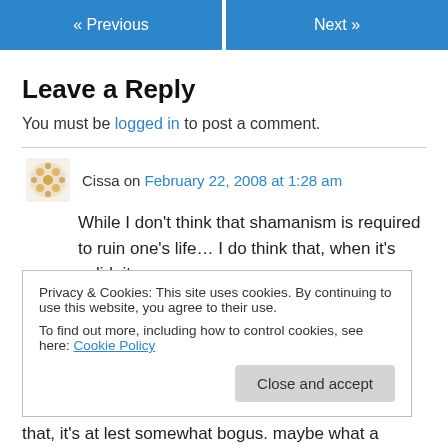« Previous   Next »
Leave a Reply
You must be logged in to post a comment.
Cissa on February 22, 2008 at 1:28 am
While I don't think that shamanism is required to ruin one's life… I do think that, when it's valid, it…
Privacy & Cookies: This site uses cookies. By continuing to use this website, you agree to their use.
To find out more, including how to control cookies, see here: Cookie Policy
Close and accept
that, it's at lest somewhat bogus. maybe what a